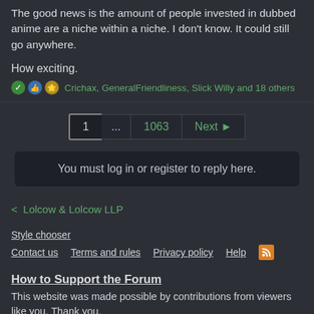The good news is the amount of people invested in dubbed anime are a niche within a niche. I don't know. It could still go anywhere.

How exciting.
Crichax, GeneralFriendliness, Slick Willy and 18 others
1 ... 1063 Next
You must log in or register to reply here.
< Lolcow & Lolcow LLP
Style chooser
Contact us   Terms and rules   Privacy policy   Help
How to Support the Forum
This website was made possible by contributions from viewers like you. Thank you.